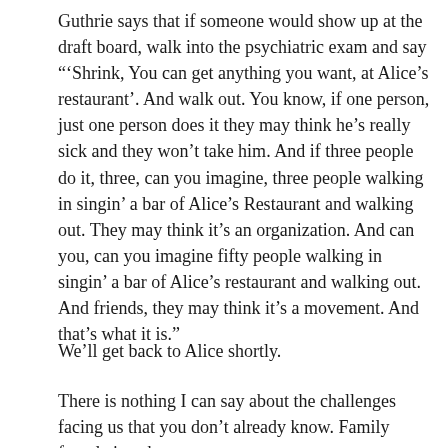Guthrie says that if someone would show up at the draft board, walk into the psychiatric exam and say '“Shrink, You can get anything you want, at Alice’s restaurant’. And walk out. You know, if one person, just one person does it they may think he’s really sick and they won’t take him. And if three people do it, three, can you imagine, three people walking in singin’ a bar of Alice’s Restaurant and walking out. They may think it’s an organization. And can you, can you imagine fifty people walking in singin’ a bar of Alice’s restaurant and walking out. And friends, they may think it’s a movement. And that’s what it is.”
We’ll get back to Alice shortly.
There is nothing I can say about the challenges facing us that you don’t already know. Family foundations have